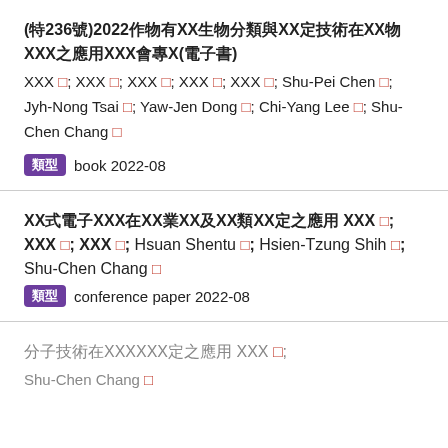(特236號)2022作物有益生物分類與鑑定技術在植物保護之應用研討會專刊(電子書)
陳淑佩 □; 陳秋男 □; 陳彥達 □; 陳品妤 □; 劉家佑 □; Shu-Pei Chen □; Jyh-Nong Tsai □; Yaw-Jen Dong □; Chi-Yang Lee □; Shu-Chen Chang □
類型  book 2022-08
攜帶式電子鼻系統在農業診斷及分類鑑定之應用
曾柏維 □; 沈峻旗 □; 林心慈 □; Hsuan Shentu □; Hsien-Tzung Shih □; Shu-Chen Chang □
類型  conference paper 2022-08
分子技術在昆蟲族群鑑定之應用 陳彥達 □; Shu-Chen Chang □